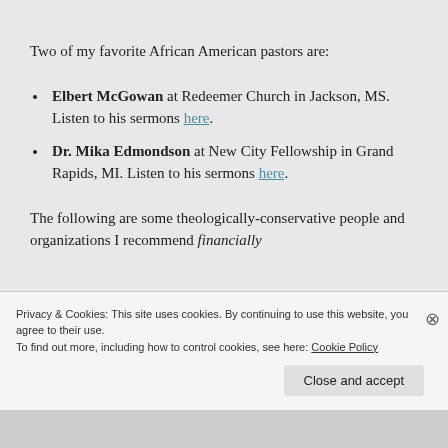Two of my favorite African American pastors are:
Elbert McGowan at Redeemer Church in Jackson, MS. Listen to his sermons here.
Dr. Mika Edmondson at New City Fellowship in Grand Rapids, MI. Listen to his sermons here.
The following are some theologically-conservative people and organizations I recommend financially
Privacy & Cookies: This site uses cookies. By continuing to use this website, you agree to their use. To find out more, including how to control cookies, see here: Cookie Policy
Close and accept